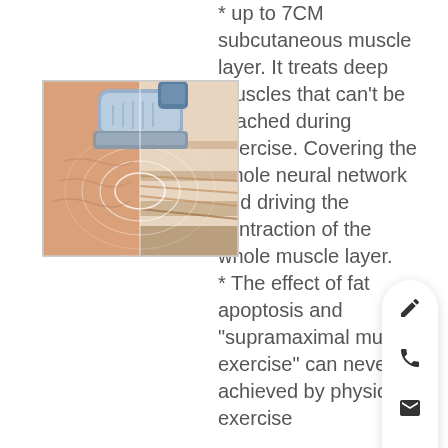* up to 7CM subcutaneous muscle layer. It treats deep muscles that can't be reached during exercise. Covering the whole neural network and driving the contraction of the whole muscle layer. * The effect of fat apoptosis and "supramaximal muscle exercise" can never be achieved by physical exercise
[Figure (photo): Medical device handpiece shown applied to skin surface with illustrated cross-section showing penetration of electromagnetic waves into muscle layers beneath the skin.]